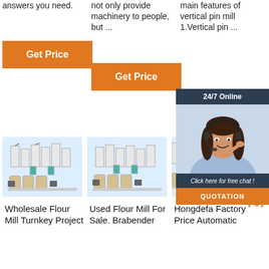answers you need.
not only provide machinery to people, but ...
main features of vertical pin mill 1.Vertical pin ...
[Figure (screenshot): Orange 'Get Price' button in column 1]
[Figure (screenshot): Orange 'Get Price' button in column 2]
[Figure (photo): Customer service woman with headset, 24/7 Online chat widget overlay with QUOTATION button]
[Figure (photo): Wholesale Flour Mill machine product image with light blue background]
[Figure (photo): Used Flour Mill machine product image with light blue background]
[Figure (photo): Hongdefa Factory partial product image]
Wholesale Flour Mill Turnkey Project
Used Flour Mill For Sale. Brabender
Hongdefa Factory Price Automatic